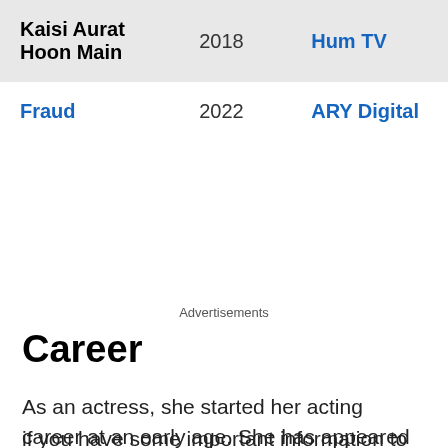| Title | Year | Channel |
| --- | --- | --- |
| Kaisi Aurat Hoon Main | 2018 | Hum TV |
| Fraud | 2022 | ARY Digital |
Advertisements
Career
As an actress, she started her acting career at an early age. She has appeared in a variety of dramas ever since. Currently, she appears in the drama Serial Fraud.
if you have some important information to add